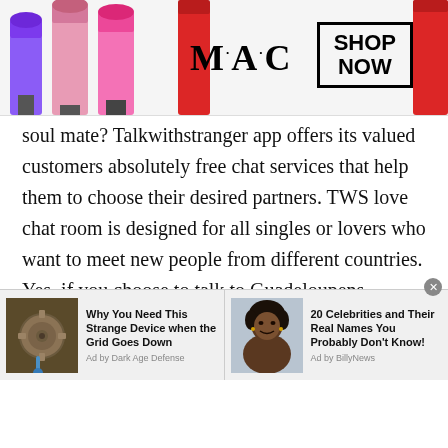[Figure (photo): MAC cosmetics advertisement banner with lipstick tubes on left, MAC logo in center, and 'SHOP NOW' box on right]
soul mate? Talkwithstranger app offers its valued customers absolutely free chat services that help them to choose their desired partners. TWS love chat room is designed for all singles or lovers who want to meet new people from different countries. Yes, if you choose to talk to Guadeloupens, Indians, Canadians, Germans, hot girls and handsome boys, you are all set to start a free chat now.

You can text strangers or simply start a cam chat to
[Figure (photo): Two advertisement units at bottom: left shows a steampunk gear device with headline 'Why You Need This Strange Device when the Grid Goes Down' by Dark Age Defense; right shows Oprah Winfrey with headline '20 Celebrities and Their Real Names You Probably Don't Know!' by BillyNews]